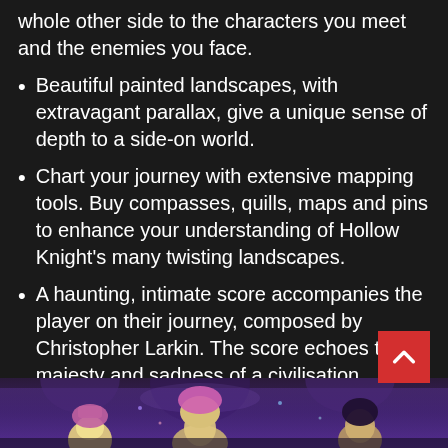whole other side to the characters you meet and the enemies you face.
Beautiful painted landscapes, with extravagant parallax, give a unique sense of depth to a side-on world.
Chart your journey with extensive mapping tools. Buy compasses, quills, maps and pins to enhance your understanding of Hollow Knight’s many twisting landscapes.
A haunting, intimate score accompanies the player on their journey, composed by Christopher Larkin. The score echoes the majesty and sadness of a civilisation brought to ruin.
Complete Hollow Knight to unlock Steel Soul Mode, the ultimate challenge!
[Figure (illustration): Bottom portion of a fantasy game illustration showing characters in a dark, mystical purple/blue setting]